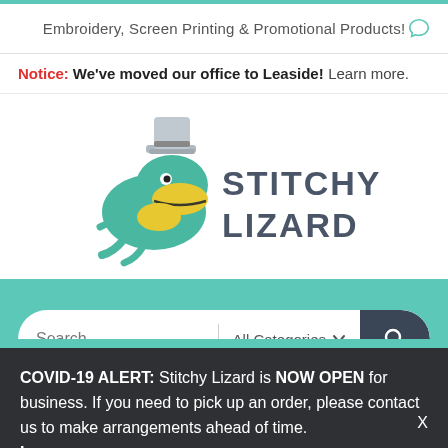Embroidery, Screen Printing & Promotional Products!
Notice: We've moved our office to Leaside! Learn more.
[Figure (logo): Stitchy Lizard logo — cartoon lizard wearing a top hat next to bold text reading STITCHY LIZARD]
Search ... All Categories
COVID-19 ALERT: Stitchy Lizard is NOW OPEN for business. If you need to pick up an order, please contact us to make arrangements ahead of time. Learn more.